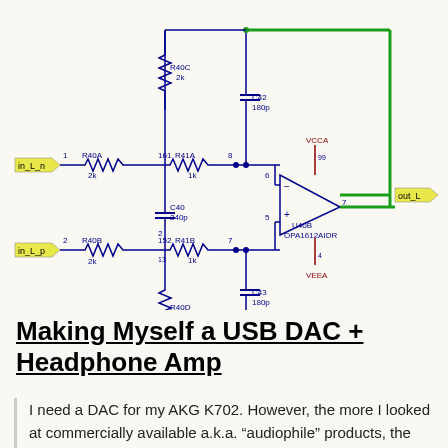[Figure (circuit-diagram): Electronic schematic showing a differential input op-amp circuit with OPA1612AIDR (U40B), resistors R40A, R40B, R40C, R40D (all 2k), R41A, R41B (both 1k), capacitors C40 (240p), C42, C43 (both 180p), power rails VCCA and VEEA, GND, input signals in_L_n and in_L_p, and output out_L.]
Making Myself a USB DAC + Headphone Amp
I need a DAC for my AKG K702. However, the more I looked at commercially available a.k.a. “audiophile” products, the more snake oil I